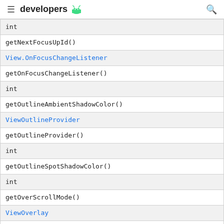developers
| int |
| getNextFocusUpId() |
| View.OnFocusChangeListener |
| getOnFocusChangeListener() |
| int |
| getOutlineAmbientShadowColor() |
| ViewOutlineProvider |
| getOutlineProvider() |
| int |
| getOutlineSpotShadowColor() |
| int |
| getOverScrollMode() |
| ViewOverlay |
| getOverlay() |